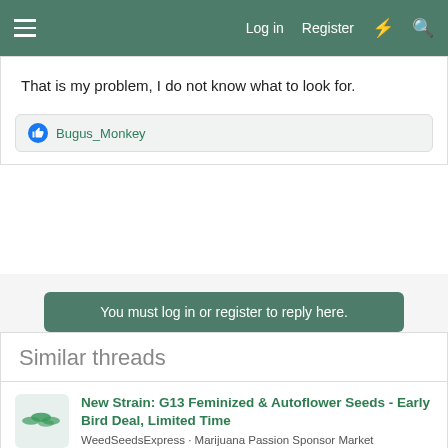☰  Log in  Register  ⚡  🔍
That is my problem, I do not know what to look for.
👍 Bugus_Monkey
You must log in or register to reply here.
Similar threads
New Strain: G13 Feminized & Autoflower Seeds - Early Bird Deal, Limited Time
WeedSeedsExpress · Marijuana Passion Sponsor Market
Replies 4 · Yesterday at 8:16 AM
New Strain: Maui Waui feminized Seeds - Early Bird Deal, Limited Time
WeedSeedsExpress · Marijuana Passion Sponsor Market
Replies 0 · Jun 10, 2022